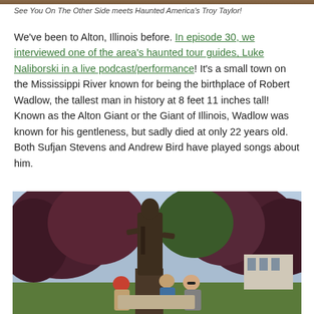See You On The Other Side meets Haunted America's Troy Taylor!
We've been to Alton, Illinois before. In episode 30, we interviewed one of the area's haunted tour guides, Luke Naliborski in a live podcast/performance! It's a small town on the Mississippi River known for being the birthplace of Robert Wadlow, the tallest man in history at 8 feet 11 inches tall! Known as the Alton Giant or the Giant of Illinois, Wadlow was known for his gentleness, but sadly died at only 22 years old. Both Sufjan Stevens and Andrew Bird have played songs about him.
[Figure (photo): A large bronze statue of Robert Wadlow with people standing beside it, surrounded by trees, taken outdoors on a sunny day.]